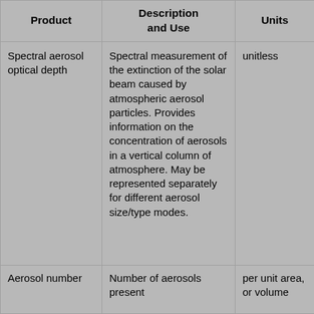| Product | Description and Use | Units |
| --- | --- | --- |
| Spectral aerosol optical depth | Spectral measurement of the extinction of the solar beam caused by atmospheric aerosol particles. Provides information on the concentration of aerosols in a vertical column of atmosphere. May be represented separately for different aerosol size/type modes. | unitless |
| Aerosol number | Number of aerosols present | per unit area, or volume |